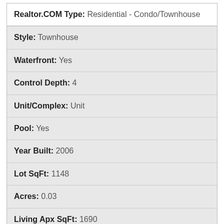Realtor.COM Type: Residential - Condo/Townhouse
Style: Townhouse
Waterfront: Yes
Control Depth: 4
Unit/Complex: Unit
Pool: Yes
Year Built: 2006
Lot SqFt: 1148
Acres: 0.03
Living Apx SqFt: 1690
SqFt Source: Property Data Card
Total Bedrooms: 3